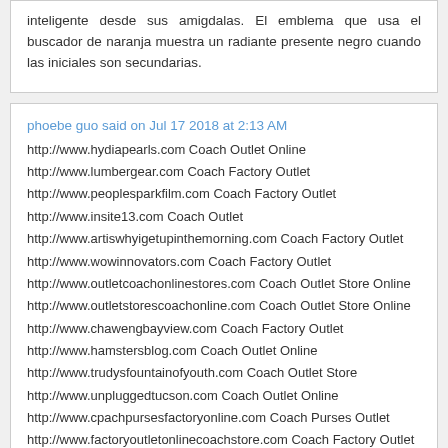inteligente desde sus amigdalas. El emblema que usa el buscador de naranja muestra un radiante presente negro cuando las iniciales son secundarias.
phoebe guo said on Jul 17 2018 at 2:13 AM
http://www.hydiapearls.com Coach Outlet Online
http://www.lumbergear.com Coach Factory Outlet
http://www.peoplesparkfilm.com Coach Factory Outlet
http://www.insite13.com Coach Outlet
http://www.artiswhyigetupinthemorning.com Coach Factory Outlet
http://www.wowinnovators.com Coach Factory Outlet
http://www.outletcoachonlinestores.com Coach Outlet Store Online
http://www.outletstorescoachonline.com Coach Outlet Store Online
http://www.chawengbayview.com Coach Factory Outlet
http://www.hamstersblog.com Coach Outlet Online
http://www.trudysfountainofyouth.com Coach Outlet Store
http://www.unpluggedtucson.com Coach Outlet Online
http://www.cpachpursesfactoryonline.com Coach Purses Outlet
http://www.factoryoutletonlinecoachstore.com Coach Factory Outlet
http://www.glamour-illustrated.com Coach Outlet Store
http://www.factoryonlinecoach.com Coach Factory Outlet